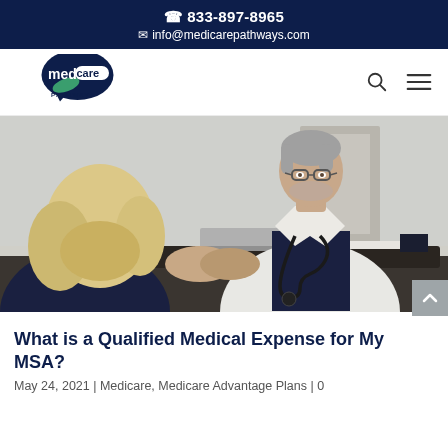833-897-8965
info@medicarepathways.com
[Figure (logo): Medicare Pathways logo — dark navy speech bubble with 'medicare' text and green leaf swoosh, 'PATHWAYS' beneath]
[Figure (photo): Doctor in white coat with stethoscope sitting across a desk from a blonde female patient, handshake in progress, laptop on desk]
What is a Qualified Medical Expense for My MSA?
May 24, 2021 | Medicare, Medicare Advantage Plans | 0